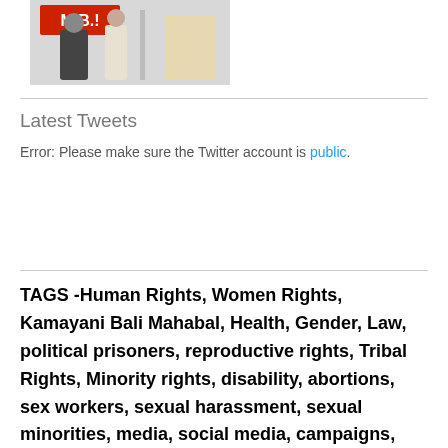[Figure (photo): Partial photo at top of page showing people, with red text logo/banner visible]
Latest Tweets
Error: Please make sure the Twitter account is public.
TAGS -Human Rights, Women Rights, Kamayani Bali Mahabal, Health, Gender, Law, political prisoners, reproductive rights, Tribal Rights, Minority rights, disability, abortions, sex workers, sexual harassment, sexual minorities, media, social media, campaigns, advocacy, Trainings, social media, video blogging, ICT, mental health, justice, peace, japa, politics, UID, music, dance, cinema, Art